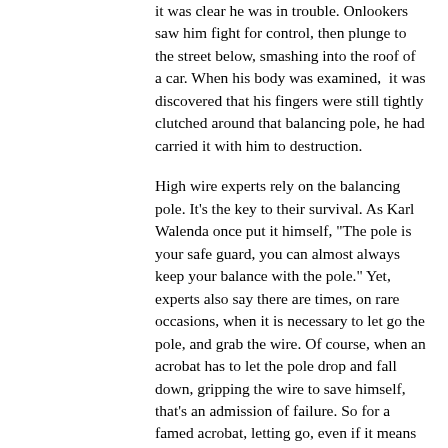it was clear he was in trouble. Onlookers saw him fight for control, then plunge to the street below, smashing into the roof of a car. When his body was examined,  it was discovered that his fingers were still tightly clutched around that balancing pole, he had carried it with him to destruction.
High wire experts rely on the balancing pole. It's the key to their survival. As Karl Walenda once put it himself, "The pole is your safe guard, you can almost always keep your balance with the pole." Yet, experts also say there are times, on rare occasions, when it is necessary to let go the pole, and grab the wire. Of course, when an acrobat has to let the pole drop and fall down, gripping the wire to save himself, that's an admission of failure. So for a famed acrobat, letting go, even if it means saving your own life, can be exceedingly difficult. In his split second decision to hold on to that